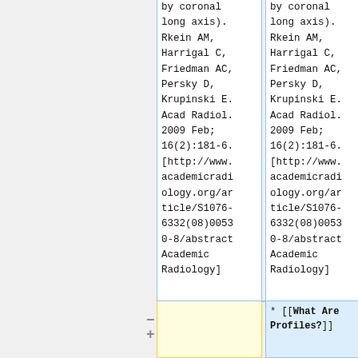multipla... by coronal long axis). Rkein AM, Harrigal C, Friedman AC, Persky D, Krupinski E. Acad Radiol. 2009 Feb; 16(2):181-6. [http://www.academicradi ology.org/ar ticle/S1076- 6332(08)0053 0-8/abstract Academic Radiology]
multipla... by coronal long axis). Rkein AM, Harrigal C, Friedman AC, Persky D, Krupinski E. Acad Radiol. 2009 Feb; 16(2):181-6. [http://www.academicradi ology.org/ar ticle/S1076- 6332(08)0053 0-8/abstract Academic Radiology]
* [[What Are Profiles?]]